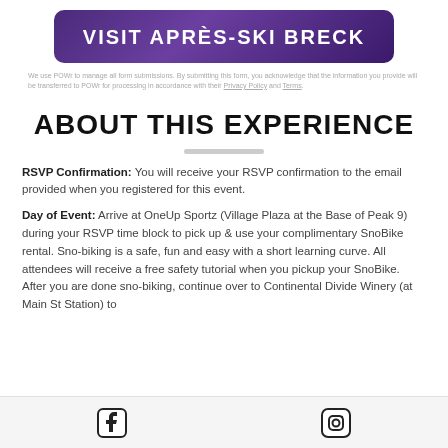VISIT APRÈS-SKI BRECK
We use POWr to manage all form submissions. By submitting this form, you acknowledge that the information you provide will be transferred to POWr for processing in accordance with their Privacy Policy and Terms.
ABOUT THIS EXPERIENCE
RSVP Confirmation: You will receive your RSVP confirmation to the email provided when you registered for this event.
Day of Event: Arrive at OneUp Sportz (Village Plaza at the Base of Peak 9) during your RSVP time block to pick up & use your complimentary SnoBike rental. Sno-biking is a safe, fun and easy with a short learning curve. All attendees will receive a free safety tutorial when you pickup your SnoBike. After you are done sno-biking, continue over to Continental Divide Winery (at Main St Station) to
Facebook | Instagram social icons